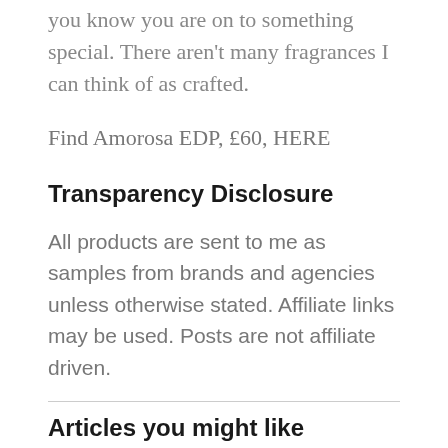you know you are on to something special. There aren't many fragrances I can think of as crafted.
Find Amorosa EDP, £60, HERE
Transparency Disclosure
All products are sent to me as samples from brands and agencies unless otherwise stated. Affiliate links may be used. Posts are not affiliate driven.
Articles you might like